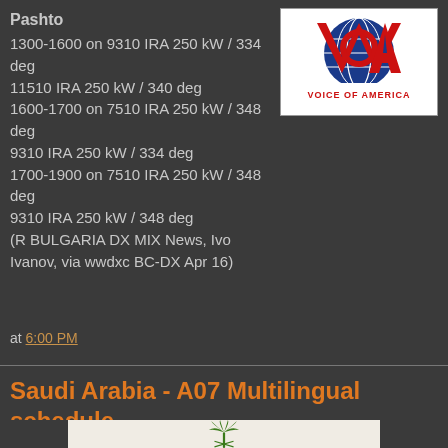Pashto
1300-1600 on 9310 IRA 250 kW / 334 deg
11510 IRA 250 kW / 340 deg
1600-1700 on 7510 IRA 250 kW / 348 deg
9310 IRA 250 kW / 334 deg
1700-1900 on 7510 IRA 250 kW / 348 deg
9310 IRA 250 kW / 348 deg
(R BULGARIA DX MIX News, Ivo Ivanov, via wwdxc BC-DX Apr 16)
[Figure (logo): Voice of America logo with VOA letters in red, white and blue with globe graphic, and text VOICE OF AMERICA below]
at 6:00 PM
Saudi Arabia - A07 Multilingual schedule
[Figure (photo): Saudi Arabia emblem showing a green palm tree above two crossed swords on a light beige/cream background]